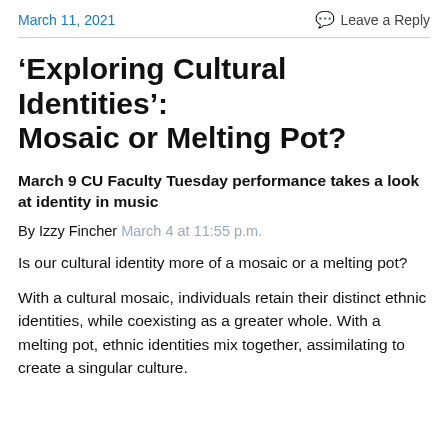March 11, 2021   Leave a Reply
‘Exploring Cultural Identities’: Mosaic or Melting Pot?
March 9 CU Faculty Tuesday performance takes a look at identity in music
By Izzy Fincher March 4 at 11:55 p.m.
Is our cultural identity more of a mosaic or a melting pot?
With a cultural mosaic, individuals retain their distinct ethnic identities, while coexisting as a greater whole. With a melting pot, ethnic identities mix together, assimilating to create a singular culture.